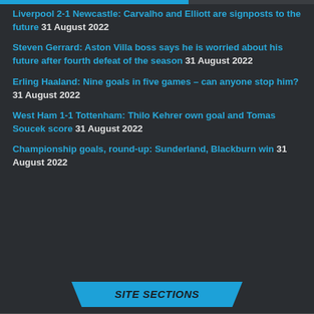Liverpool 2-1 Newcastle: Carvalho and Elliott are signposts to the future 31 August 2022
Steven Gerrard: Aston Villa boss says he is worried about his future after fourth defeat of the season 31 August 2022
Erling Haaland: Nine goals in five games – can anyone stop him? 31 August 2022
West Ham 1-1 Tottenham: Thilo Kehrer own goal and Tomas Soucek score 31 August 2022
Championship goals, round-up: Sunderland, Blackburn win 31 August 2022
SITE SECTIONS